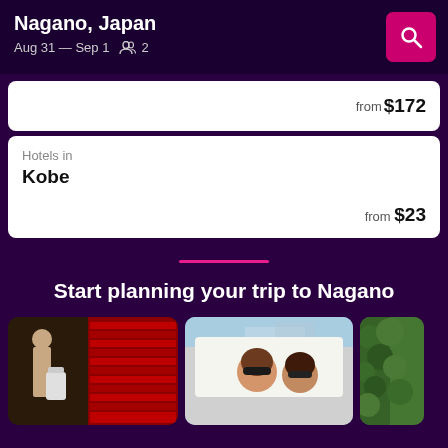Nagano, Japan
Aug 31 — Sep 1  👥 2
from $172
Hotels in
Kobe
from $23
Start planning your trip to Nagano
[Figure (photo): Person with luggage at airport departures board]
[Figure (photo): Two women smiling leaning out of a car window]
[Figure (photo): Green hedge/nature background with person]